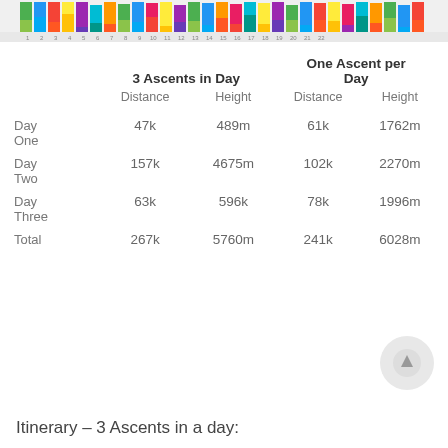[Figure (other): Colorful stacked bar chart strip at the top of the page, partially visible]
|  | 3 Ascents in Day Distance | 3 Ascents in Day Height | One Ascent per Day Distance | One Ascent per Day Height |
| --- | --- | --- | --- | --- |
| Day One | 47k | 489m | 61k | 1762m |
| Day Two | 157k | 4675m | 102k | 2270m |
| Day Three | 63k | 596k | 78k | 1996m |
| Total | 267k | 5760m | 241k | 6028m |
Itinerary – 3 Ascents in a day: